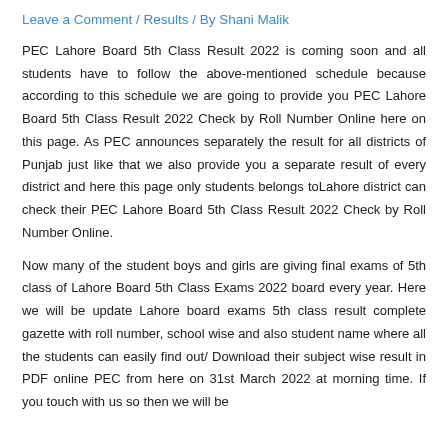Leave a Comment / Results / By Shani Malik
PEC Lahore Board 5th Class Result 2022 is coming soon and all students have to follow the above-mentioned schedule because according to this schedule we are going to provide you PEC Lahore Board 5th Class Result 2022 Check by Roll Number Online here on this page. As PEC announces separately the result for all districts of Punjab just like that we also provide you a separate result of every district and here this page only students belongs toLahore district can check their PEC Lahore Board 5th Class Result 2022 Check by Roll Number Online.
Now many of the student boys and girls are giving final exams of 5th class of Lahore Board 5th Class Exams 2022 board every year. Here we will be update Lahore board exams 5th class result complete gazette with roll number, school wise and also student name where all the students can easily find out/ Download their subject wise result in PDF online PEC from here on 31st March 2022 at morning time. If you touch with us so then we will be